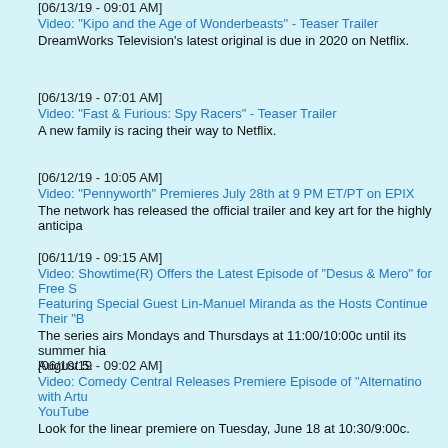[06/13/19 - 09:01 AM]
Video: "Kipo and the Age of Wonderbeasts" - Teaser Trailer
DreamWorks Television's latest original is due in 2020 on Netflix.
[06/13/19 - 07:01 AM]
Video: "Fast & Furious: Spy Racers" - Teaser Trailer
A new family is racing their way to Netflix.
[06/12/19 - 10:05 AM]
Video: "Pennyworth" Premieres July 28th at 9 PM ET/PT on EPIX
The network has released the official trailer and key art for the highly anticipa...
[06/11/19 - 09:15 AM]
Video: Showtime(R) Offers the Latest Episode of "Desus & Mero" for Free S... Featuring Special Guest Lin-Manuel Miranda as the Hosts Continue Their "B...
The series airs Mondays and Thursdays at 11:00/10:00c until its summer hia... August 5.
[06/10/19 - 09:02 AM]
Video: Comedy Central Releases Premiere Episode of "Alternatino with Artu... YouTube
Look for the linear premiere on Tuesday, June 18 at 10:30/9:00c.
[06/07/19 - 10:01 AM]
Video: "Undone" - Teaser Trailer - Prime Video
The project is a genre-bending animated series starring Rosa Salazar and B...
[06/07/19 - 09:04 AM]